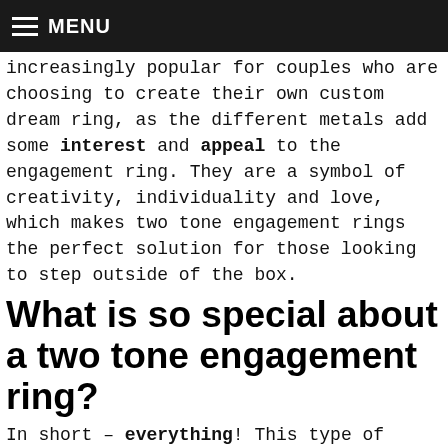MENU
Two tone engagement rings are becoming increasingly popular for couples who are choosing to create their own custom dream ring, as the different metals add some interest and appeal to the engagement ring. They are a symbol of creativity, individuality and love, which makes two tone engagement rings the perfect solution for those looking to step outside of the box.
What is so special about a two tone engagement ring?
In short – everything! This type of unique engagement ring really steps outside the bounds of what many people view as "traditional" for both a wedding ring and engagement rings, which is also